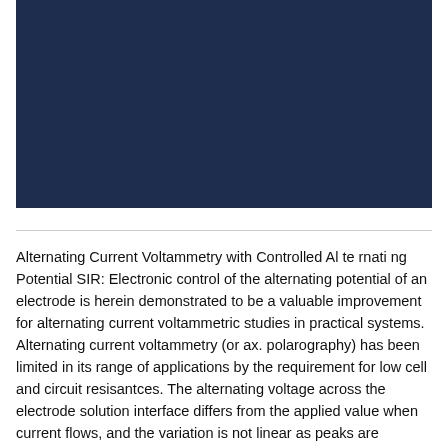[Figure (other): Dark navy blue rectangular image block occupying the top portion of the page]
Alternating Current Voltammetry with Controlled Alternating Potential SIR: Electronic control of the alternating potential of an electrode is herein demonstrated to be a valuable improvement for alternating current voltammetric studies in practical systems. Alternating current voltammetry (or ax. polarography) has been limited in its range of applications by the requirement for low cell and circuit resisantces. The alternating voltage across the electrode solution interface differs from the applied value when current flows, and the variation is not linear as peaks are